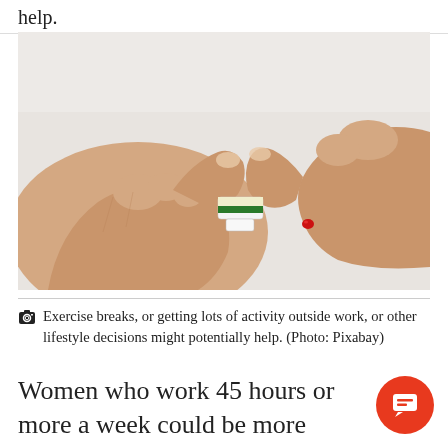help.
[Figure (photo): Close-up of two hands holding a blood glucose test strip near a finger with a drop of blood on it, against a white background.]
Exercise breaks, or getting lots of activity outside work, or other lifestyle decisions might potentially help. (Photo: Pixabay)
Women who work 45 hours or more a week could be more likely to develop diabetes, according to a new report.